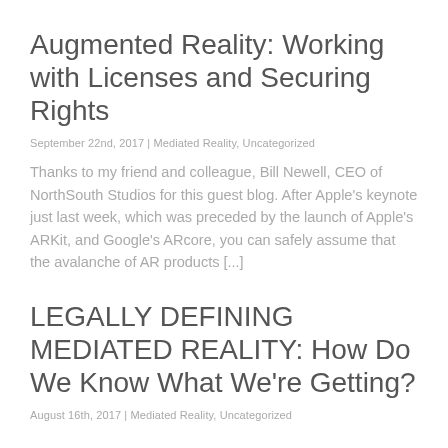Augmented Reality: Working with Licenses and Securing Rights
September 22nd, 2017  |  Mediated Reality, Uncategorized
Thanks to my friend and colleague, Bill Newell, CEO of NorthSouth Studios for this guest blog.  After Apple's keynote just last week, which was preceded by the launch of Apple's ARKit, and Google's ARcore, you can safely assume that the avalanche of AR products [...]
LEGALLY DEFINING MEDIATED REALITY: How Do We Know What We're Getting?
August 16th, 2017 | Mediated Reality, Uncategorized